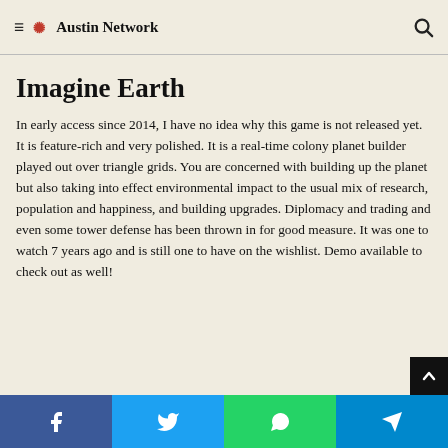≡ ❊Austin Network 🔍
Imagine Earth
In early access since 2014, I have no idea why this game is not released yet. It is feature-rich and very polished. It is a real-time colony planet builder played out over triangle grids. You are concerned with building up the planet but also taking into effect environmental impact to the usual mix of research, population and happiness, and building upgrades. Diplomacy and trading and even some tower defense has been thrown in for good measure. It was one to watch 7 years ago and is still one to have on the wishlist. Demo available to check out as well!